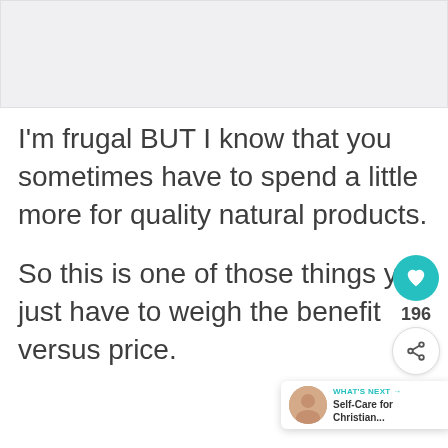[Figure (photo): Placeholder image area at the top of the page, light gray background]
I'm frugal BUT I know that you sometimes have to spend a little more for quality natural products.
So this is one of those things you just have to weigh the benefit versus price.
Additionally, I think the cost would even